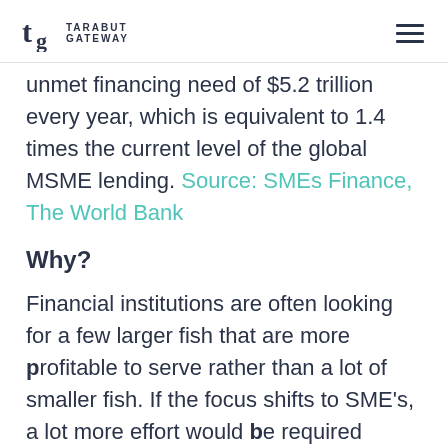TARABUT GATEWAY
unmet financing need of $5.2 trillion every year, which is equivalent to 1.4 times the current level of the global MSME lending. Source: SMEs Finance, The World Bank
Why?
Financial institutions are often looking for a few larger fish that are more profitable to serve rather than a lot of smaller fish. If the focus shifts to SME's, a lot more effort would be required which will increase the cost. Several roadblocks stand in the way of SME